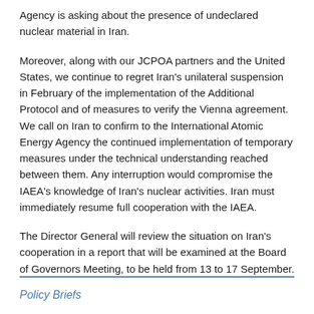Agency is asking about the presence of undeclared nuclear material in Iran.
Moreover, along with our JCPOA partners and the United States, we continue to regret Iran's unilateral suspension in February of the implementation of the Additional Protocol and of measures to verify the Vienna agreement. We call on Iran to confirm to the International Atomic Energy Agency the continued implementation of temporary measures under the technical understanding reached between them. Any interruption would compromise the IAEA's knowledge of Iran's nuclear activities. Iran must immediately resume full cooperation with the IAEA.
The Director General will review the situation on Iran's cooperation in a report that will be examined at the Board of Governors Meeting, to be held from 13 to 17 September.
Policy Briefs